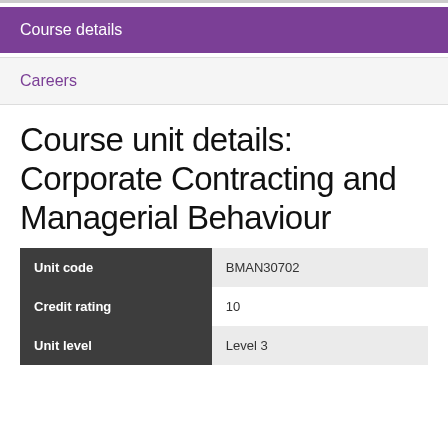Course details
Careers
Course unit details: Corporate Contracting and Managerial Behaviour
|  |  |
| --- | --- |
| Unit code | BMAN30702 |
| Credit rating | 10 |
| Unit level | Level 3 |